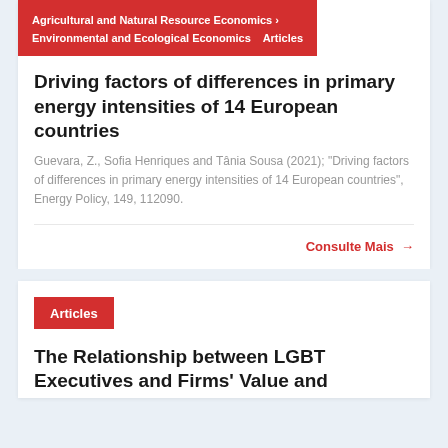Agricultural and Natural Resource Economics › Environmental and Ecological Economics   Articles
Driving factors of differences in primary energy intensities of 14 European countries
Guevara, Z., Sofia Henriques and Tânia Sousa (2021); "Driving factors of differences in primary energy intensities of 14 European countries", Energy Policy, 149, 112090.
Consulte Mais →
Articles
The Relationship between LGBT Executives and Firms' Value and